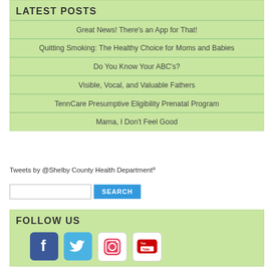LATEST POSTS
Great News! There's an App for That!
Quitting Smoking: The Healthy Choice for Moms and Babies
Do You Know Your ABC's?
Visible, Vocal, and Valuable Fathers
TennCare Presumptive Eligibility Prenatal Program
Mama, I Don't Feel Good
Tweets by @Shelby County Health Department
FOLLOW US
[Figure (other): Social media icons: Facebook, Twitter, Instagram, YouTube]